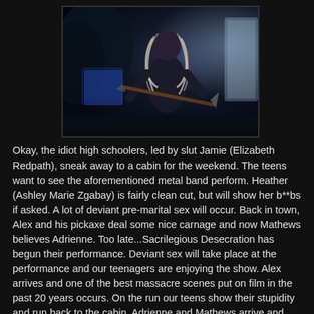[Figure (photo): A dark scene from what appears to be a horror/action film or game, showing a large menacing figure with long white/grey hair holding a weapon (pickaxe or similar), against a dark atmospheric background with some blue/purple lighting.]
Okay, the idiot high schoolers, led by slut Jamie (Elizabeth Redpath), sneak away to a cabin for the weekend.  The teens want to see the aforementioned metal band perform.  Heather (Ashley Marie Zgabay) is fairly clean cut, but will show her b**bs if asked.  A lot of deviant pre-marital sex will occur.  Back in town, Alex and his pickaxe deal some nice carnage and now Mathews believes Adrienne.  Too late...Sacrilegious Desecration has begun their performance.  Deviant sex will take place at the performance and our teenagers are enjoying the show.  Alex arrives and one of the best massacre scenes put on film in the past 20 years occurs.  On the run our teens show their stupidity and run back to the cabin.  Adrienne and Mathews arrive and square off against Alex...and the real fun begins...